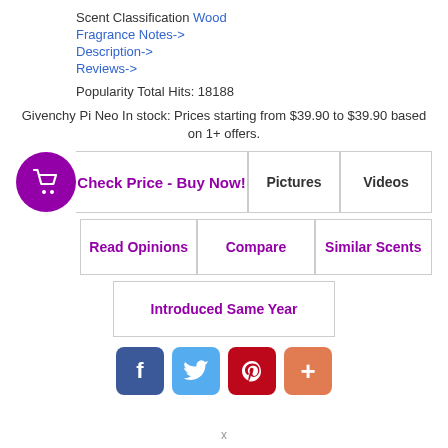Scent Classification Wood
Fragrance Notes->
Description->
Reviews->
Popularity Total Hits: 18188
Givenchy Pi Neo In stock: Prices starting from $39.90 to $39.90 based on 1+ offers.
Check Price - Buy Now!
Pictures
Videos
Read Opinions
Compare
Similar Scents
Introduced Same Year